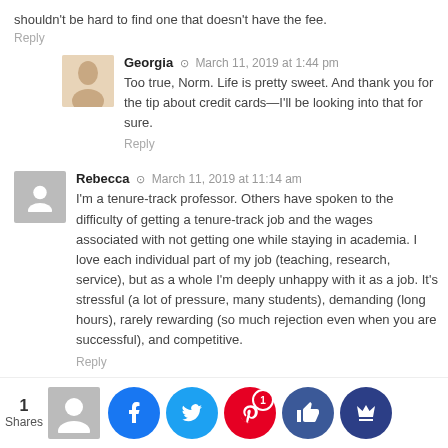shouldn't be hard to find one that doesn't have the fee.
Reply
Georgia · March 11, 2019 at 1:44 pm
Too true, Norm. Life is pretty sweet. And thank you for the tip about credit cards—I'll be looking into that for sure.
Reply
Rebecca · March 11, 2019 at 11:14 am
I'm a tenure-track professor. Others have spoken to the difficulty of getting a tenure-track job and the wages associated with not getting one while staying in academia. I love each individual part of my job (teaching, research, service), but as a whole I'm deeply unhappy with it as a job. It's stressful (a lot of pressure, many students), demanding (long hours), rarely rewarding (so much rejection even when you are successful), and competitive.
Reply
1 Shares
March ...19 at 9:... nd so...